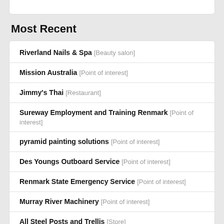Most Recent
Riverland Nails & Spa [Beauty salon]
Mission Australia [Point of interest]
Jimmy's Thai [Restaurant]
Sureway Employment and Training Renmark [Point of interest]
pyramid painting solutions [Point of interest]
Des Youngs Outboard Service [Point of interest]
Renmark State Emergency Service [Point of interest]
Murray River Machinery [Point of interest]
All Steel Posts and Trellis [Store]
La Vista Caravans Renmark [Car repair]
Related Searches